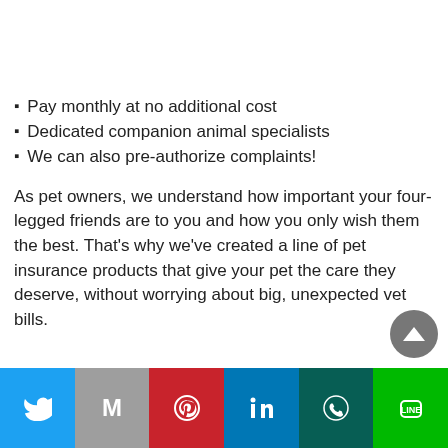Pay monthly at no additional cost
Dedicated companion animal specialists
We can also pre-authorize complaints!
As pet owners, we understand how important your four-legged friends are to you and how you only wish them the best. That's why we've created a line of pet insurance products that give your pet the care they deserve, without worrying about big, unexpected vet bills.
Twitter | Gmail | Pinterest | LinkedIn | WhatsApp | Line